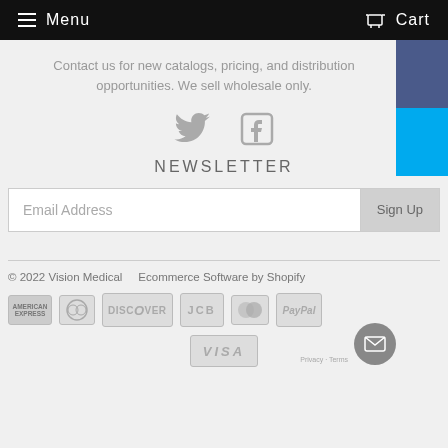Menu   Cart
Contact us for new catalogs, pricing, and distribution opportunities. We sell wholesale only.
[Figure (illustration): Twitter and Facebook social media icons in gray]
NEWSLETTER
Email Address   Sign Up
© 2022 Vision Medical    Ecommerce Software by Shopify
American Express, Diners Club, Discover, JCB, Mastercard, PayPal, Visa payment icons